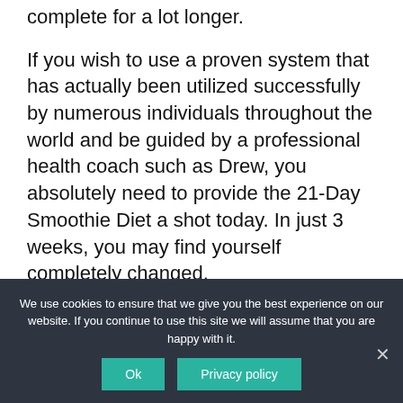complete for a lot longer.
If you wish to use a proven system that has actually been utilized successfully by numerous individuals throughout the world and be guided by a professional health coach such as Drew, you absolutely need to provide the 21-Day Smoothie Diet a shot today. In just 3 weeks, you may find yourself completely changed.
CHECK 21 DAY SMOOTHIE DIET PRICE
We use cookies to ensure that we give you the best experience on our website. If you continue to use this site we will assume that you are happy with it.
Ok
Privacy policy